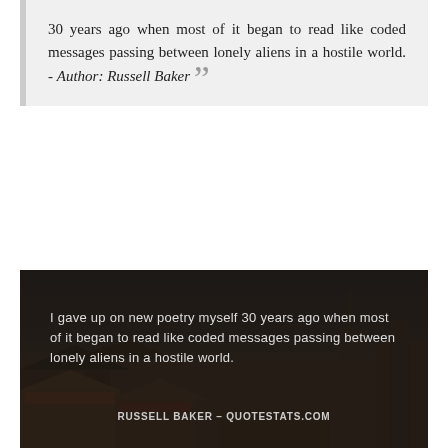30 years ago when most of it began to read like coded messages passing between lonely aliens in a hostile world. - Author: Russell Baker ””
[Figure (photo): Dark cityscape photo (appears to be a European city with church spire and historic buildings at dusk/night) overlaid with the quote: 'I gave up on new poetry myself 30 years ago when most of it began to read like coded messages passing between lonely aliens in a hostile world.' Attribution: Russell Baker - QUOTESTATS.COM]